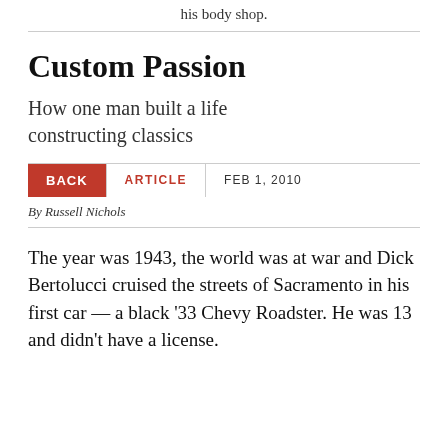his body shop.
Custom Passion
How one man built a life constructing classics
BACK   ARTICLE   FEB 1, 2010
By Russell Nichols
The year was 1943, the world was at war and Dick Bertolucci cruised the streets of Sacramento in his first car — a black '33 Chevy Roadster. He was 13 and didn't have a license.